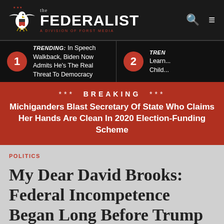the FEDERALIST — A DIVISION OF FORST MEDIA
TRENDING: In Speech Walkback, Biden Now Admits He's The Real Threat To Democracy
TRENDING: Learn... Child...
*** BREAKING *** Michiganders Blast Secretary Of State Who Claims Her Hands Are Clean In 2020 Election-Funding Scheme
POLITICS
My Dear David Brooks: Federal Incompetence Began Long Before Trump